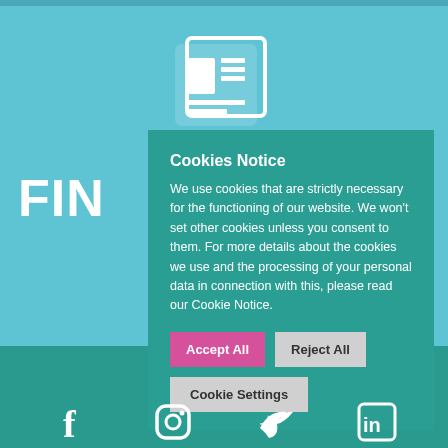[Figure (screenshot): Website screenshot showing a news/finance site with a light teal background, newspaper icon, partial 'FIN' heading text, a dark teal cookie consent modal overlay, and social media icons in the footer.]
Cookies Notice
We use cookies that are strictly necessary for the functioning of our website. We won't set other cookies unless you consent to them. For more details about the cookies we use and the processing of your personal data in connection with this, please read our Cookie Notice.
Accept All
Reject All
Cookie Settings